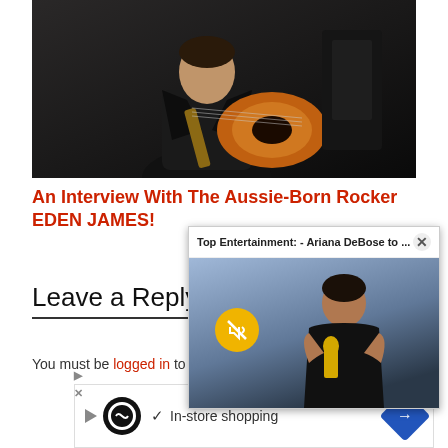[Figure (photo): Man in black leather jacket holding an orange sunburst guitar, seated against a dark background]
An Interview With The Aussie-Born Rocker EDEN JAMES!
[Figure (photo): Popup video overlay showing woman in black dress holding an Oscar trophy, with yellow mute button. Header reads: Top Entertainment: - Ariana DeBose to ...]
Leave a Reply
You must be logged in to post a comment.
[Figure (other): Ad banner: arrow icon, circular logo, checkmark, In-store shopping text, blue navigation arrow button]